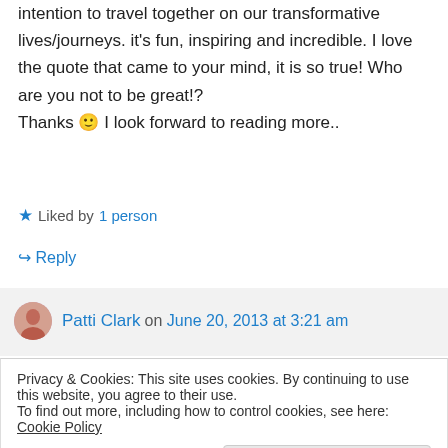intention to travel together on our transformative lives/journeys. it's fun, inspiring and incredible. I love the quote that came to your mind, it is so true! Who are you not to be great!? Thanks 🙂 I look forward to reading more..
★ Liked by 1 person
↪ Reply
Patti Clark on June 20, 2013 at 3:21 am
Privacy & Cookies: This site uses cookies. By continuing to use this website, you agree to their use. To find out more, including how to control cookies, see here: Cookie Policy
Close and accept
from you as well